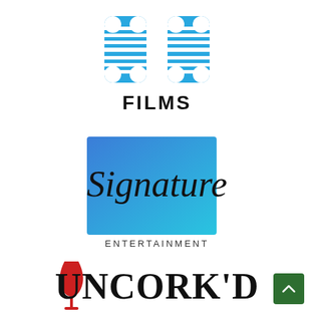[Figure (logo): 88 Films logo: two blue '8' digits made of horizontal stripes, with 'FILMS' in bold black serif-style text below]
[Figure (logo): Signature Entertainment logo: blue gradient square background with cursive 'Signature' text overlapping it and 'ENTERTAINMENT' in small caps below]
[Figure (logo): Uncork'd Entertainment logo: 'UNCORK'D' in large serif text with decorative red wine glass icon, partial view at bottom of page]
[Figure (other): Green scroll-to-top button with upward chevron arrow in bottom-right corner]